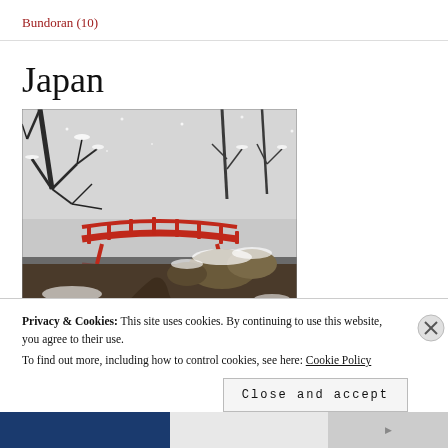Bundoran (10)
Japan
[Figure (photo): A snowy winter scene featuring a red Japanese-style arched bridge over a stream, surrounded by bare trees dusted with snow and snow-covered shrubs and ground.]
Privacy & Cookies: This site uses cookies. By continuing to use this website, you agree to their use.
To find out more, including how to control cookies, see here: Cookie Policy
Close and accept